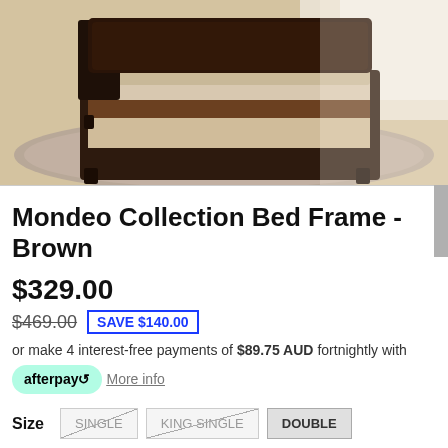[Figure (photo): Product photo of a brown leather-style bed frame (Mondeo Collection) on a light wood floor with a grey fluffy rug, made up with brown/beige bedding, set against a light background.]
Mondeo Collection Bed Frame - Brown
$329.00
$469.00  SAVE $140.00
or make 4 interest-free payments of $89.75 AUD fortnightly with afterpay  More info
Size  SINGLE  KING SINGLE  DOUBLE